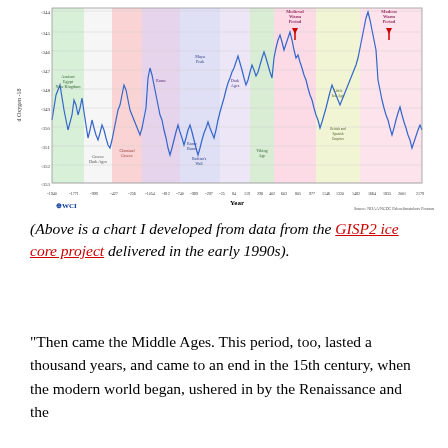[Figure (continuous-plot): A time-series line chart showing d Oxygen-18 values (a proxy for temperature) over approximately 4000 years, from ~1940 BC to 2170 AD. The y-axis shows d Oxygen-18 values from approximately -263 to -344. Colored vertical bands highlight historical periods: Ancient Egypt New Kingdom (green), Greece Dark Ages (white), Classical Greece (pink/rose), Rome (purple), Rome Burns / Hadrian's Wall / Maya Peak (purple/lavender), Dark Ages (lavender), Viking Age (green), Medieval Warm Period (pink), Little Ice Age / British and Spanish Empires (yellow/green), and Modern Warm Period (pink). Red downward arrows mark the Medieval Warm Period and Modern Warm Period peaks. The chart is sourced from NOAA/NGDC Paleoclimatology Program and branded with the World Cycles Institute (WCI) logo.]
(Above is a chart I developed from data from the GISP2 ice core project delivered in the early 1990s).
“Then came the Middle Ages. This period, too, lasted a thousand years, and came to an end in the 15th century, when the modern world began, ushered in by the Renaissance and the